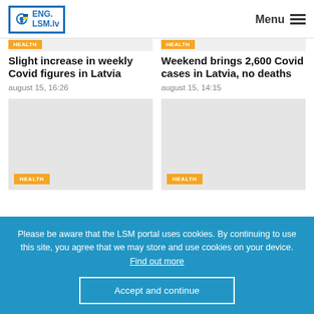ENG. LSM.lv  Menu
Slight increase in weekly Covid figures in Latvia
august 15, 16:26
Weekend brings 2,600 Covid cases in Latvia, no deaths
august 15, 14:15
[Figure (photo): Article image placeholder with HEALTH badge]
[Figure (photo): Article image placeholder with HEALTH badge]
Please be aware that the LSM portal uses cookies. By continuing to use this site, you agree that we may store and use cookies on your device. Find out more
Accept and continue